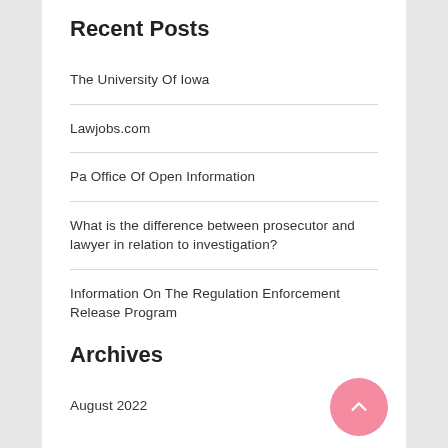Recent Posts
The University Of Iowa
Lawjobs.com
Pa Office Of Open Information
What is the difference between prosecutor and lawyer in relation to investigation?
Information On The Regulation Enforcement Release Program
Archives
August 2022